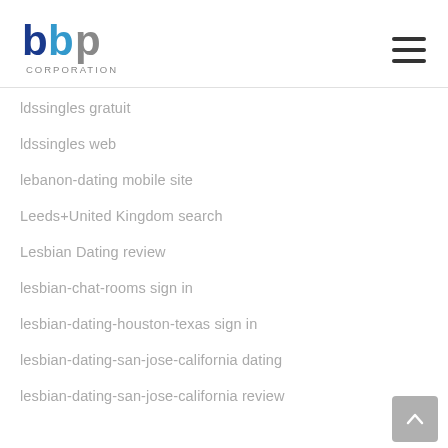[Figure (logo): BBP Corporation logo with blue and gray letters and 'CORPORATION' text below]
ldssingles gratuit
ldssingles web
lebanon-dating mobile site
Leeds+United Kingdom search
Lesbian Dating review
lesbian-chat-rooms sign in
lesbian-dating-houston-texas sign in
lesbian-dating-san-jose-california dating
lesbian-dating-san-jose-california review